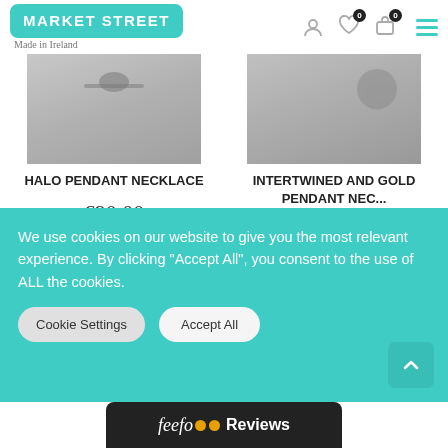MARKET STREET - Made in Ireland
[Figure (photo): Close-up photo of Halo Pendant Necklace clasp on grey fabric]
HALO PENDANT NECKLACE
€90.00
Store: Paulafitzjewellery
[Figure (photo): Close-up photo of Intertwined and Gold Pendant Necklace on grey fabric]
INTERTWINED AND GOLD PENDANT NEC...
€90.00
Store: Paulafitzjewellery
[Figure (photo): Partial product image - bracelet on grey background]
[Figure (photo): Partial product image - fabric/textile item on dark background]
We use cookies on our website to give you the most relevant experience. By clicking “Accept All”, you consent to the use of ALL the cookies.
Cookie Settings   Accept All